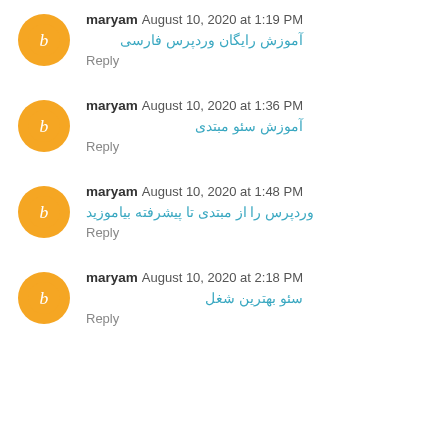maryam August 10, 2020 at 1:19 PM
آموزش رایگان وردپرس فارسی
Reply
maryam August 10, 2020 at 1:36 PM
آموزش سئو مبتدی
Reply
maryam August 10, 2020 at 1:48 PM
وردپرس را از مبتدی تا پیشرفته بیاموزید
Reply
maryam August 10, 2020 at 2:18 PM
سئو بهترین شغل
Reply